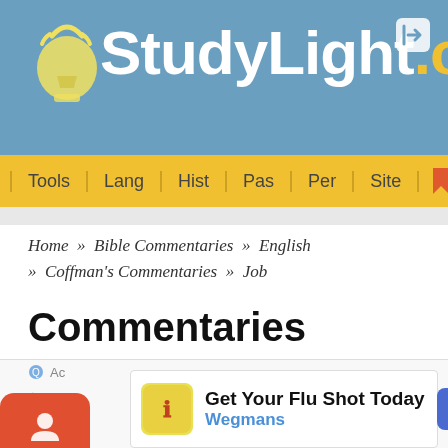StudyLight.org
Tools | Lang | Hist | Pas | Per | Site
Home » Bible Commentaries » English » Coffman's Commentaries » Job
Commentaries
Coffman's Commentaries
Job 28
Get Your Flu Shot Today
Wegmans